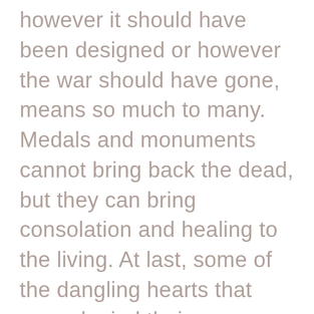however it should have been designed or however the war should have gone, means so much to many. Medals and monuments cannot bring back the dead, but they can bring consolation and healing to the living. At last, some of the dangling hearts that were denied their homecoming ceremony can grieve and exhale and let go. At the end of Larry Powell's photographic tribute to the veterans, there is a single question, small and black on